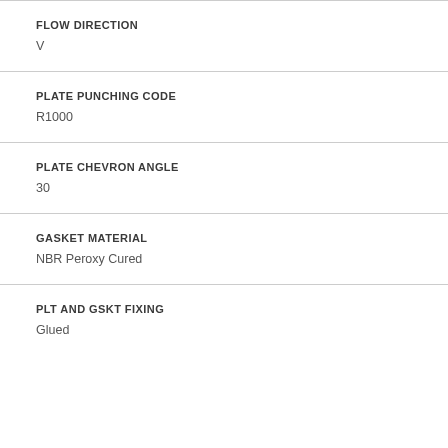FLOW DIRECTION
V
PLATE PUNCHING CODE
R1000
PLATE CHEVRON ANGLE
30
GASKET MATERIAL
NBR Peroxy Cured
PLT AND GSKT FIXING
Glued